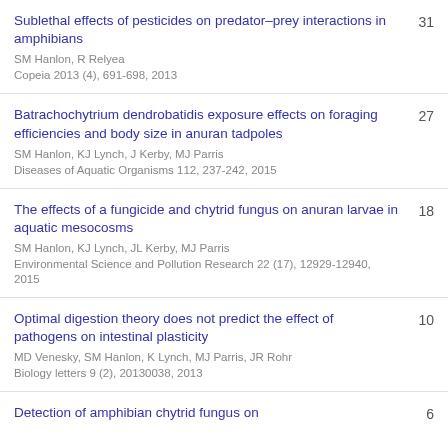Sublethal effects of pesticides on predator–prey interactions in amphibians
SM Hanlon, R Relyea
Copeia 2013 (4), 691-698, 2013
31
Batrachochytrium dendrobatidis exposure effects on foraging efficiencies and body size in anuran tadpoles
SM Hanlon, KJ Lynch, J Kerby, MJ Parris
Diseases of Aquatic Organisms 112, 237-242, 2015
27
The effects of a fungicide and chytrid fungus on anuran larvae in aquatic mesocosms
SM Hanlon, KJ Lynch, JL Kerby, MJ Parris
Environmental Science and Pollution Research 22 (17), 12929-12940, 2015
18
Optimal digestion theory does not predict the effect of pathogens on intestinal plasticity
MD Venesky, SM Hanlon, K Lynch, MJ Parris, JR Rohr
Biology letters 9 (2), 20130038, 2013
10
Detection of amphibian chytrid fungus on
6